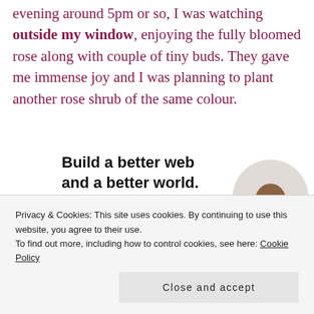evening around 5pm or so, I was watching outside my window, enjoying the fully bloomed rose along with couple of tiny buds. They gave me immense joy and I was planning to plant another rose shrub of the same colour.
[Figure (infographic): Advertisement banner reading 'Build a better web and a better world.' with a blue Apply button and a circular photo of a man thinking/posing]
Privacy & Cookies: This site uses cookies. By continuing to use this website, you agree to their use.
To find out more, including how to control cookies, see here: Cookie Policy
Close and accept